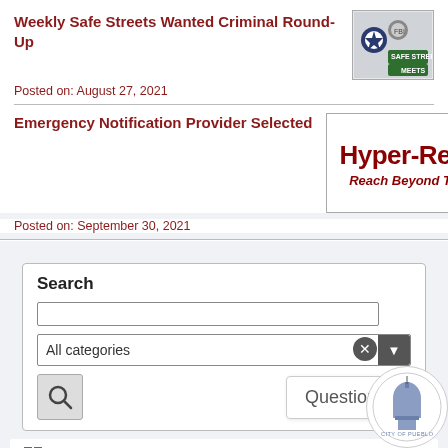Weekly Safe Streets Wanted Criminal Round-Up
Posted on: August 27, 2021
[Figure (photo): Thumbnail image with police/law enforcement badges and street signs]
Emergency Notification Provider Selected
[Figure (logo): Hyper-Reach logo with tagline 'Reach Beyond Technology']
Posted on: September 30, 2021
Search
All categories
Questions?
Tools
RSS
Notify Me